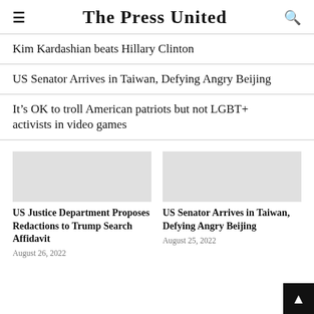The Press United
Kim Kardashian beats Hillary Clinton
US Senator Arrives in Taiwan, Defying Angry Beijing
It’s OK to troll American patriots but not LGBT+ activists in video games
US Justice Department Proposes Redactions to Trump Search Affidavit
August 26, 2022
US Senator Arrives in Taiwan, Defying Angry Beijing
August 25, 2022